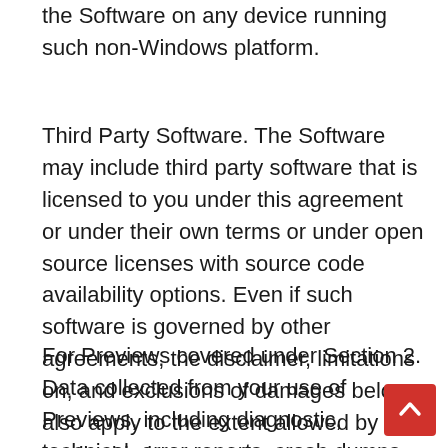the Software on any device running such non-Windows platform.
Third Party Software. The Software may include third party software that is licensed to you under this agreement or under their own terms or under open source licenses with source code availability options. Even if such software is governed by other agreements, the disclaimer, limitations on, and exclusions of damages below also apply to the extent allowed by applicable law.
For Previews covered under Section 2. Data collected from your use of Previews, including diagnostic, technical, error reports, crash dumps and other rel data from your devices running Previews may be used,